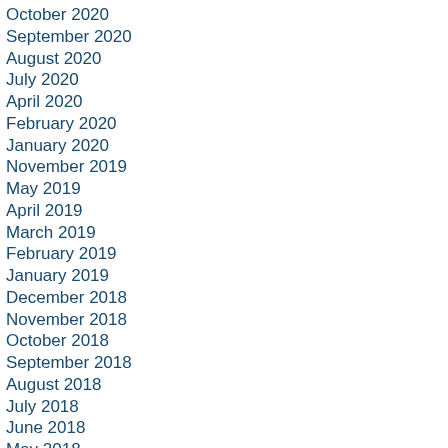October 2020
September 2020
August 2020
July 2020
April 2020
February 2020
January 2020
November 2019
May 2019
April 2019
March 2019
February 2019
January 2019
December 2018
November 2018
October 2018
September 2018
August 2018
July 2018
June 2018
May 2018
April 2018